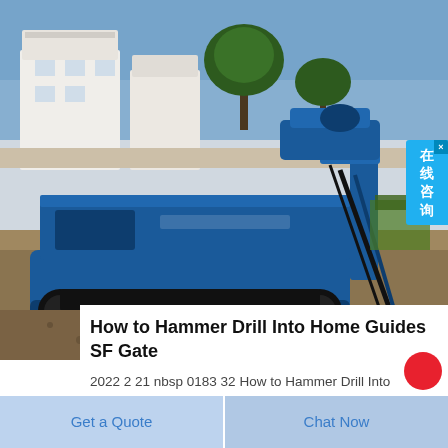[Figure (photo): A blue tracked drilling rig machine parked outdoors near a white building with trees in the background, on a gravel/dirt surface.]
在线咨询
How to Hammer Drill Into Home Guides SF Gate
2022 2 21 nbsp 0183 32 How to Hammer Drill Into Drilling a hole into can be a
Get a Quote
Chat Now